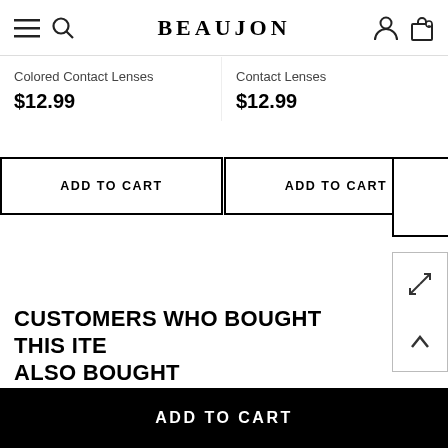BEAUJON
Colored Contact Lenses
$12.99
Contact Lenses
$12.99
ADD TO CART
ADD TO CART
CUSTOMERS WHO BOUGHT THIS ITEM ALSO BOUGHT
[Figure (photo): Close-up photo of a person's eyebrow - left product image]
[Figure (photo): Close-up photo of a person's eyebrow - right product image]
ADD TO CART